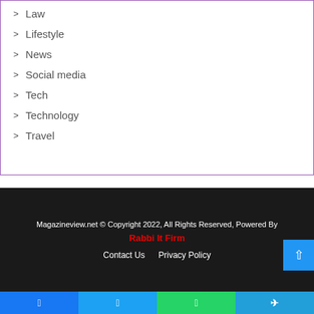Law
Lifestyle
News
Social media
Tech
Technology
Travel
Magazineview.net © Copyright 2022, All Rights Reserved, Powered By Rabbi It Firm Contact Us  Privacy Policy